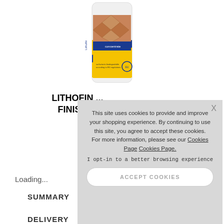[Figure (photo): Product image of Lithofin concentrate cleaner in a white bottle with yellow and blue label showing a tiled floor scene]
LITHOFIN ... FINISH ...
Loading...
SUMMARY
DELIVERY
[Figure (screenshot): Cookie consent overlay with text: This site uses cookies to provide and improve your shopping experience. By continuing to use this site, you agree to accept these cookies. For more information, please see our Cookies Page Cookies Page. I opt-in to a better browsing experience. Button: ACCEPT COOKIES. Close X button.]